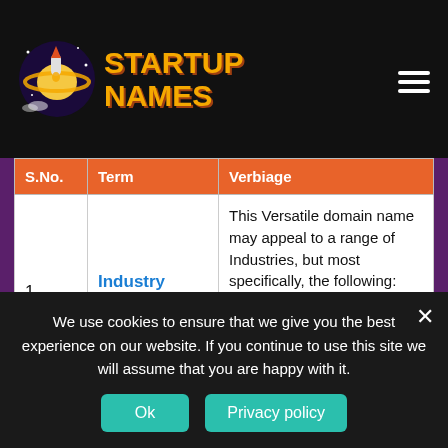STARTUP NAMES
| S.No. | Term | Verbiage |
| --- | --- | --- |
| 1 | Industry Category | This Versatile domain name may appeal to a range of Industries, but most specifically, the following:
– Engineering
– Automobile
– Travel & Holiday
– Cafes & Hotels firms |
We use cookies to ensure that we give you the best experience on our website. If you continue to use this site we will assume that you are happy with it.